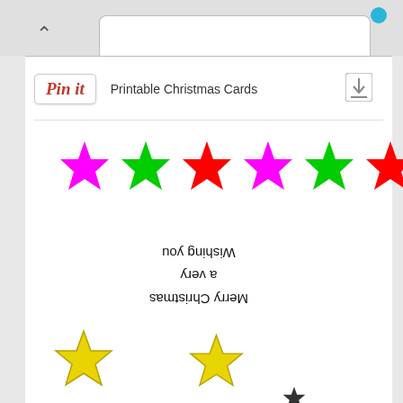[Figure (screenshot): Browser tab UI with chevron up arrow and white tab]
[Figure (screenshot): Pinterest 'Pin it' button with text 'Printable Christmas Cards' and a download icon]
[Figure (illustration): Row of six colored stars: magenta, green, red, magenta, green, red]
[Figure (illustration): Upside-down handwritten text reading 'Merry Christmas / a very / Wishing you' and two yellow stars at the bottom]